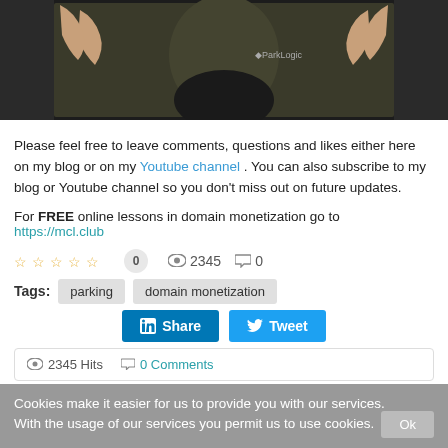[Figure (photo): Video thumbnail showing a person in a dark shirt with hands raised, with ParkLogic logo visible]
Please feel free to leave comments, questions and likes either here on my blog or on my Youtube channel . You can also subscribe to my blog or Youtube channel so you don't miss out on future updates.
For FREE online lessons in domain monetization go to https://mcl.club
★ ★ ★ ★ ★  0   👁 2345  💬 0
Tags:  parking  domain monetization
Share  Tweet
👁 2345 Hits  💬 0 Comments
Cookies make it easier for us to provide you with our services. With the usage of our services you permit us to use cookies.